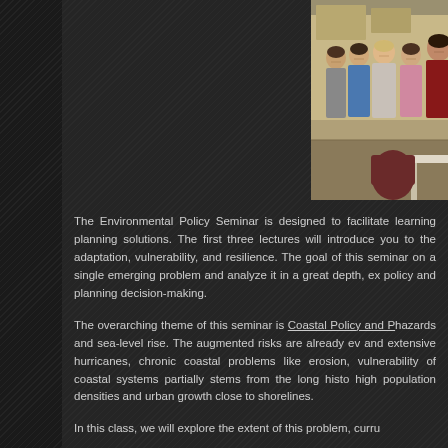[Figure (photo): Group photo of approximately 8-9 students standing together in a classroom setting, with tables and chairs visible in the background.]
The Environmental Policy Seminar is designed to facilitate learning planning solutions. The first three lectures will introduce you to the adaptation, vulnerability, and resilience. The goal of this seminar on a single emerging problem and analyze it in a great depth, ex policy and planning decision-making.
The overarching theme of this seminar is Coastal Policy and P hazards and sea-level rise. The augmented risks are already ev and extensive hurricanes, chronic coastal problems like erosion, vulnerability of coastal systems partially stems from the long histo high population densities and urban growth close to shorelines.
In this class, we will explore the extent of this problem, curru